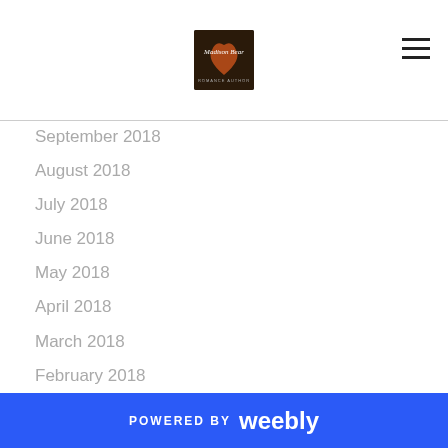September 2018
August 2018
July 2018
June 2018
May 2018
April 2018
March 2018
February 2018
January 2018
December 2017
November 2017
October 2017
September 2017
August 2017
POWERED BY weebly